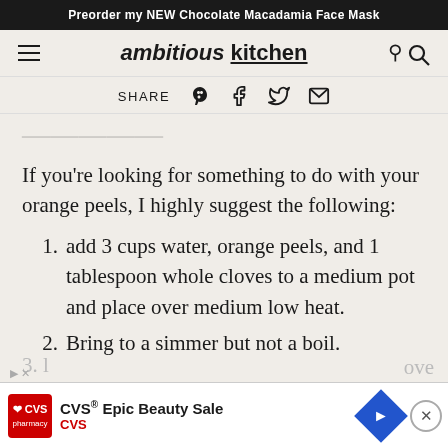Preorder my NEW Chocolate Macadamia Face Mask
ambitious kitchen — SHARE (Pinterest, Facebook, Twitter, Email)
If you're looking for something to do with your orange peels, I highly suggest the following:
add 3 cups water, orange peels, and 1 tablespoon whole cloves to a medium pot and place over medium low heat.
Bring to a simmer but not a boil.